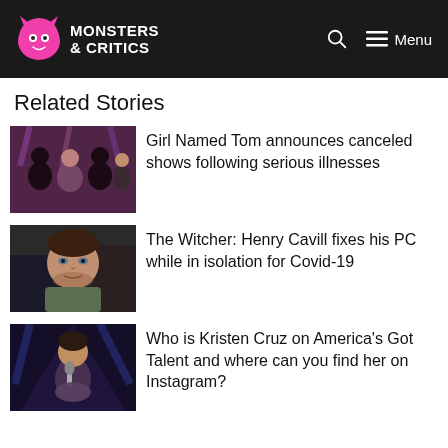Monsters & Critics
Related Stories
[Figure (photo): Group photo of Girl Named Tom with host on stage]
Girl Named Tom announces canceled shows following serious illnesses
[Figure (photo): Selfie of Henry Cavill]
The Witcher: Henry Cavill fixes his PC while in isolation for Covid-19
[Figure (photo): Kristen Cruz singing on stage with microphone]
Who is Kristen Cruz on America's Got Talent and where can you find her on Instagram?